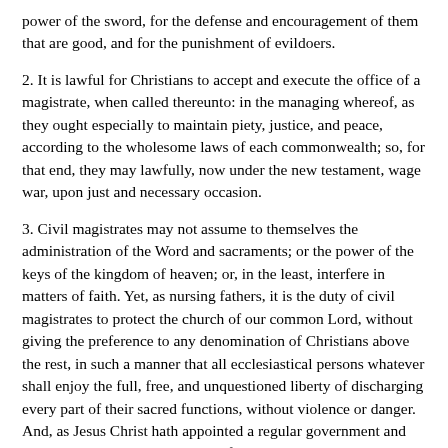power of the sword, for the defense and encouragement of them that are good, and for the punishment of evildoers.
2. It is lawful for Christians to accept and execute the office of a magistrate, when called thereunto: in the managing whereof, as they ought especially to maintain piety, justice, and peace, according to the wholesome laws of each commonwealth; so, for that end, they may lawfully, now under the new testament, wage war, upon just and necessary occasion.
3. Civil magistrates may not assume to themselves the administration of the Word and sacraments; or the power of the keys of the kingdom of heaven; or, in the least, interfere in matters of faith. Yet, as nursing fathers, it is the duty of civil magistrates to protect the church of our common Lord, without giving the preference to any denomination of Christians above the rest, in such a manner that all ecclesiastical persons whatever shall enjoy the full, free, and unquestioned liberty of discharging every part of their sacred functions, without violence or danger. And, as Jesus Christ hath appointed a regular government and discipline in his church, no law of any commonwealth should interfere with, let, or hinder, the due exercise thereof, among the voluntary members of any denomination of Christians, according to their own profession and belief. It is the duty of civil magistrates to protect the person and good name of all their people, in such an effectual manner as